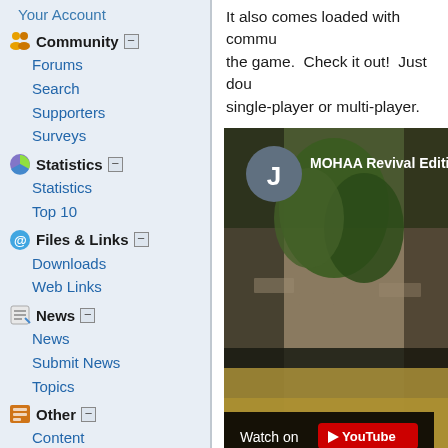Your Account
Community
Forums
Search
Supporters
Surveys
Statistics
Statistics
Top 10
Files & Links
Downloads
Web Links
News
News
Submit News
Topics
Other
Content
Docs
FAQ
Feedback
Recommend Us
Stories Archive
It also comes loaded with commu... the game.  Check it out!  Just dou... single-player or multi-player.
[Figure (screenshot): YouTube video thumbnail for MOHAA Revival Edition showing a game scene with trees and stone walls. A circular avatar with letter J is shown. A 'Watch on YouTube' bar is at the bottom.]
Download Now at www.my...